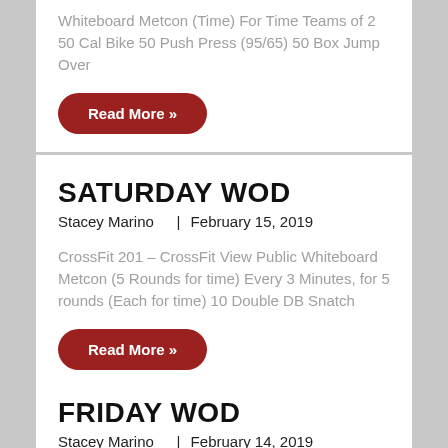Whiteboard Metcon (Time) For Time Teams of 2 50 Cal Bike 50 Push Press (95/65) 50 Box Jump Over
Read More »
SATURDAY WOD
Stacey Marino    | February 15, 2019
CrossFit 201 – CrossFit View Public Whiteboard Metcon (5 Rounds for time) Every 3 Minutes, for 5 rounds (Each for time) 10 Double DB Snatch
Read More »
FRIDAY WOD
Stacey Marino    | February 14, 2019